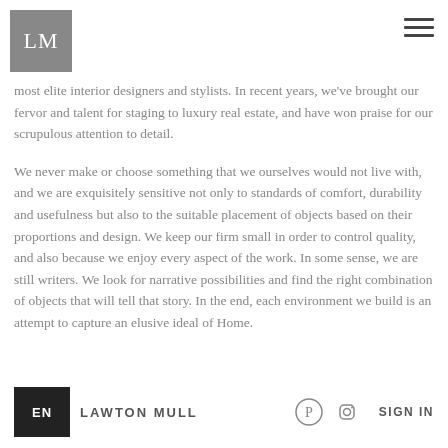LM
most elite interior designers and stylists. In recent years, we've brought our fervor and talent for staging to luxury real estate, and have won praise for our scrupulous attention to detail.
We never make or choose something that we ourselves would not live with, and we are exquisitely sensitive not only to standards of comfort, durability and usefulness but also to the suitable placement of objects based on their proportions and design. We keep our firm small in order to control quality, and also because we enjoy every aspect of the work. In some sense, we are still writers. We look for narrative possibilities and find the right combination of objects that will tell that story. In the end, each environment we build is an attempt to capture an elusive ideal of Home.
EN  LAWTON MULL  SIGN IN